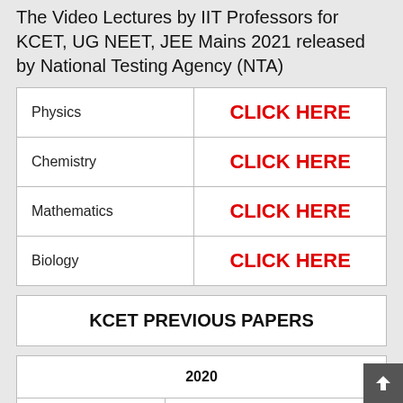The Video Lectures by IIT Professors for KCET, UG NEET, JEE Mains 2021 released by National Testing Agency (NTA)
| Subject | Link |
| --- | --- |
| Physics | CLICK HERE |
| Chemistry | CLICK HERE |
| Mathematics | CLICK HERE |
| Biology | CLICK HERE |
KCET PREVIOUS PAPERS
| Year |  |
| --- | --- |
| 2020 |  |
| Physics | CLICK HERE |